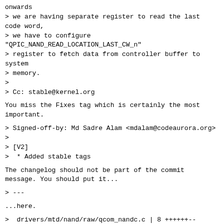onwards
> we are having separate register to read the last code word,
> we have to configure
"QPIC_NAND_READ_LOCATION_LAST_CW_n"
> register to fetch data from controller buffer to system
> memory.
>
> Cc: stable@kernel.org
You miss the Fixes tag which is certainly the most important.
> Signed-off-by: Md Sadre Alam <mdalam@codeaurora.org>
>
> [V2]
>  * Added stable tags
The changelog should not be part of the commit message. You should put it...
> ---
...here.
>  drivers/mtd/nand/raw/qcom_nandc.c | 8 ++++++--
>  1 file changed, 6 insertions(+), 2 deletions(-)
>
> diff --git a/drivers/mtd/nand/raw/qcom_nandc.c